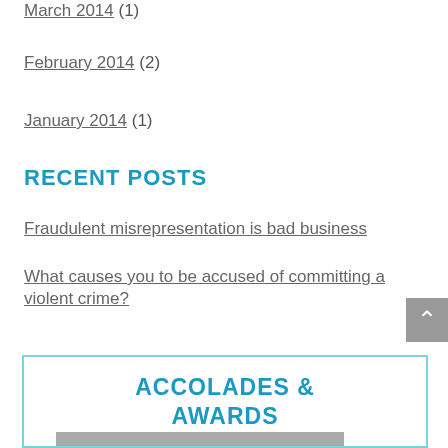March 2014 (1)
February 2014 (2)
January 2014 (1)
RECENT POSTS
Fraudulent misrepresentation is bad business
What causes you to be accused of committing a violent crime?
Will you be ordered to pay child support?
What’s the difference between assault and battery?
How to handle your company in a divorce in Ohio
ACCOLADES & AWARDS